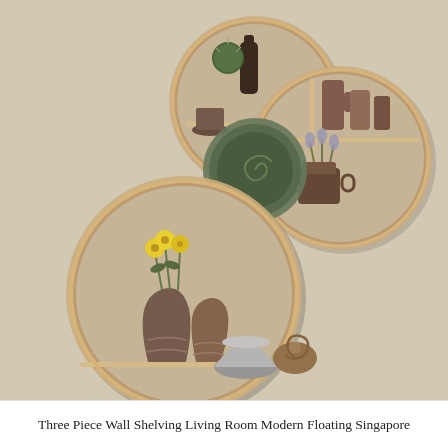[Figure (photo): Three circular wooden wall shelves arranged in a cluster on a beige textured wall. The shelves are made of light wood with a warm tan color, each containing decorative items: the large left circle has a vase with yellow flowers, a ceramic vase, a silver bowl, and a snail shell; the top center circle has a dark bottle and a cactus; the right circle has ceramic cups and a small pot with lavender flowers. Each circle has a horizontal wooden shelf inside dividing it into compartments.]
Three Piece Wall Shelving Living Room Modern Floating Singapore